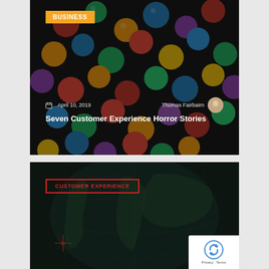[Figure (photo): Photo of colorful M&M candies in a dark tray, serving as background for a blog card with BUSINESS badge, date April 10 2019, author Thomas Fairbairn, and title Seven Customer Experience Horror Stories]
Seven Customer Experience Horror Stories
[Figure (photo): Dark photo of a globe/map, serving as background for a blog card with CUSTOMER EXPERIENCE badge]